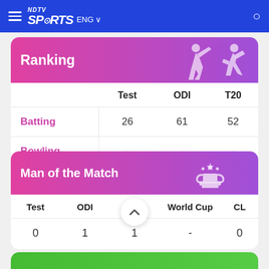NDTV SPORTS ENG
Ranking
|  | Test | ODI | T20 |
| --- | --- | --- | --- |
| Batting | 26 | 61 | 52 |
| Bowling | - | - | - |
Man of the Match
| Test | ODI | T20 | World Cup | CL |
| --- | --- | --- | --- | --- |
| 0 | 1 | 1 | - | 0 |